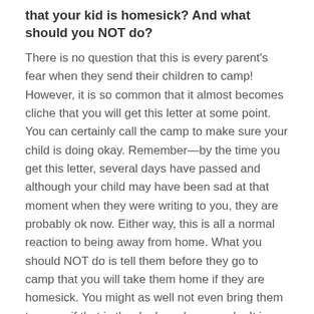that your kid is homesick? And what should you NOT do?
There is no question that this is every parent's fear when they send their children to camp! However, it is so common that it almost becomes cliche that you will get this letter at some point. You can certainly call the camp to make sure your child is doing okay. Remember—by the time you get this letter, several days have passed and although your child may have been sad at that moment when they were writing to you, they are probably ok now. Either way, this is all a normal reaction to being away from home. What you should NOT do is tell them before they go to camp that you will take them home if they are homesick. You might as well not even bring them to camp if that is the deal you have made. It is much more important to remind them that being homesick is normal and they will work through it. Let them know you believe in them and that you know they are self-reliant and you have